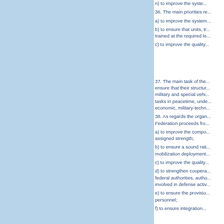n) to improve the system...
36. The main priorities re...
a) to improve the system...
b) to ensure that units, tr... trained at the required le...
c) to improve the quality...
37. The main task of the... ensure that their structur... military and special vehi... tasks in peacetime, unde... economic, military-techn...
38. As regards the organ... Federation proceeds fro...
a) to improve the compo... assigned strength;
b) to ensure a sound rati... mobilization deployment...
c) to improve the quality...
d) to strengthen coopera... federal authorities, autho... involved in defense activ...
e) to ensure the provisio... personnel;
f) to ensure integration...